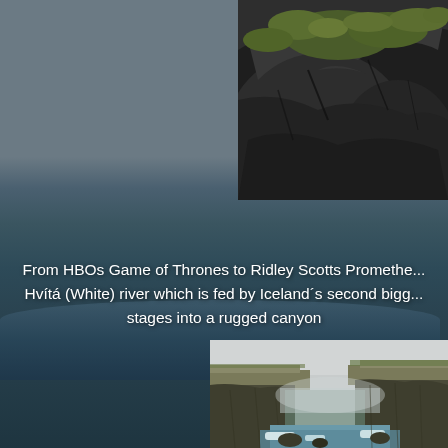[Figure (photo): Close-up of dark black volcanic rocks with patches of green moss/vegetation on top, taken outdoors in Iceland]
[Figure (photo): Dramatic Icelandic canyon landscape with rugged basalt cliffs, churning white water river below, misty fog in background]
From HBOs Game of Thrones to Ridley Scotts Promethe... Hvítá (White) river which is fed by Iceland´s second bigg... stages into a rugged canyon